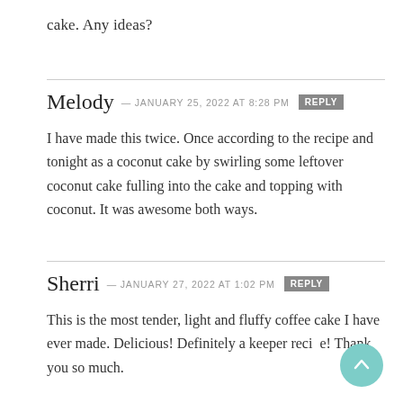cake. Any ideas?
Melody — JANUARY 25, 2022 at 8:28 PM  REPLY

I have made this twice. Once according to the recipe and tonight as a coconut cake by swirling some leftover coconut cake fulling into the cake and topping with coconut. It was awesome both ways.
Sherri — JANUARY 27, 2022 at 1:02 PM  REPLY

This is the most tender, light and fluffy coffee cake I have ever made. Delicious! Definitely a keeper recipe! Thank you so much.